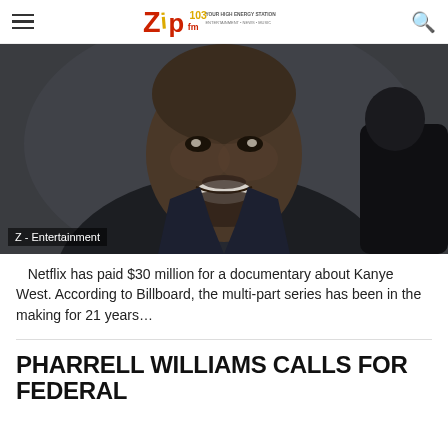Zip 103 FM — YOUR HIGH ENERGY STATION
[Figure (photo): Photo of Kanye West smiling, wearing a dark navy coat, shot against a dark grey background. A partial figure in black is visible to the right.]
Z - Entertainment
Netflix has paid $30 million for a documentary about Kanye West. According to Billboard, the multi-part series has been in the making for 21 years...
PHARRELL WILLIAMS CALLS FOR FEDERAL